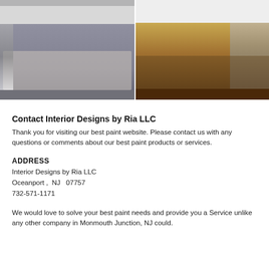[Figure (photo): Two interior room photos side by side: left shows a modern gray living room with sofas and recessed lighting; right shows a warm-toned living room with stone fireplace and hardwood floors.]
Contact Interior Designs by Ria LLC
Thank you for visiting our best paint website. Please contact us with any questions or comments about our best paint products or services.
ADDRESS
Interior Designs by Ria LLC
Oceanport ,  NJ   07757
732-571-1171
We would love to solve your best paint needs and provide you a Service unlike any other company in Monmouth Junction, NJ could.